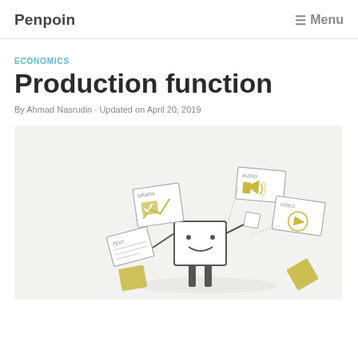Penpoin   ☰ Menu
ECONOMICS
Production function
By Ahmad Nasrudin · Updated on April 20, 2019
[Figure (illustration): Cartoon illustration of a robot-like character with a square body and smiley face, surrounded by floating content cards labeled TEXT, GRAFIK, AUDIO, VIDEO, with yellow/olive diamond and square shapes, on a light grey background.]